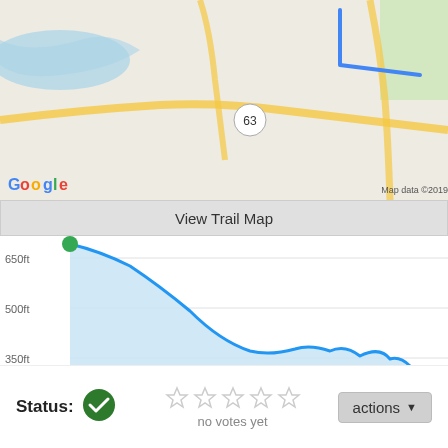[Figure (map): Google Maps screenshot showing a trail route with a blue line on a standard road/terrain map. Includes a route marker, road 63, and 'Map data ©2019' attribution. Google logo visible bottom-left.]
[Figure (area-chart): Elevation profile chart showing descent from ~680ft to ~270ft over 1.2+ miles. Blue line with light blue fill area above green ground layer. Green dot at start, red marker at end (cut off). Y-axis labels: 650ft, 500ft, 350ft, 200ft. X-axis: 0.00miles, 0.40miles, 0.80miles, 1.20m.]
Status:
[Figure (other): Green checkmark circle icon indicating trail status is open/active.]
[Figure (other): Five empty star rating icons]
no votes yet
[Figure (other): actions dropdown button]